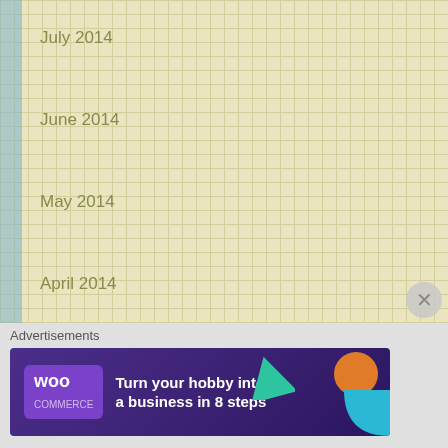July 2014
June 2014
May 2014
April 2014
March 2014
February 2014
January 2014
December 2013
November 2013
October 2013
September 2013
Advertisements
[Figure (other): WooCommerce advertisement banner: purple background with teal triangle and orange circle shapes, WooCommerce logo, text 'Turn your hobby into a business in 8 steps']